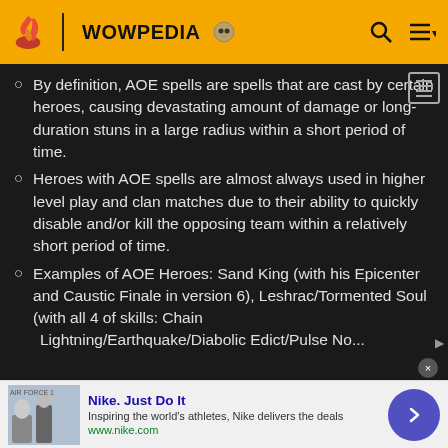WOWPEDIA
By definition, AOE spells are spells that are cast by certain heroes, causing devastating amount of damage or long-duration stuns in a large radius within a short period of time.
Heroes with AOE spells are almost always used in higher level play and clan matches due to their ability to quickly disable and/or kill the opposing team within a relatively short period of time.
Examples of AOE Heroes: Sand King (with his Epicenter and Caustic Finale in version 6), Leshrac/Tormented Soul (with all 4 of skills: Chain Lightning/Earthquake/Diabolic Edict/Pulse Nova...
Nike. Just Do It — Inspiring the world's athletes, Nike delivers the deals — www.nike.com